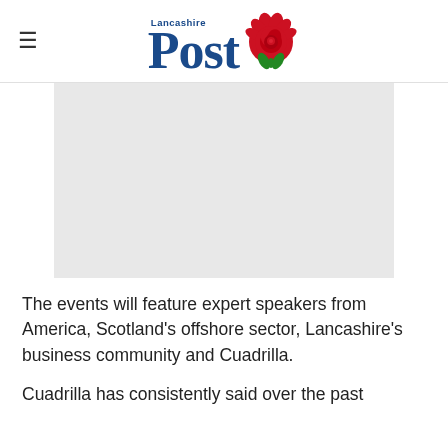[Figure (logo): Lancashire Post logo with red rose graphic]
[Figure (photo): Gray placeholder image for article photo]
The events will feature expert speakers from America, Scotland's offshore sector, Lancashire's business community and Cuadrilla.
Cuadrilla has consistently said over the past